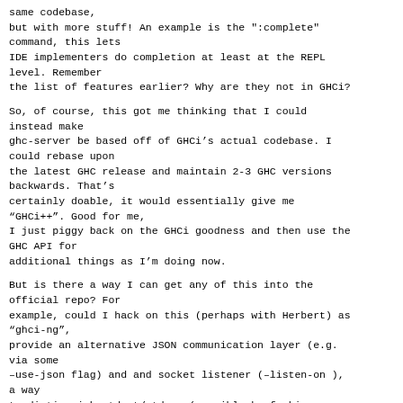same codebase,
but with more stuff! An example is the ":complete" command, this lets
IDE implementers do completion at least at the REPL level. Remember
the list of features earlier? Why are they not in GHCi?
So, of course, this got me thinking that I could instead make
ghc-server be based off of GHCi’s actual codebase. I could rebase upon
the latest GHC release and maintain 2-3 GHC versions backwards. That’s
certainly doable, it would essentially give me “GHCi++”. Good for me,
I just piggy back on the GHCi goodness and then use the GHC API for
additional things as I’m doing now.
But is there a way I can get any of this into the official repo? For
example, could I hack on this (perhaps with Herbert) as “ghci-ng”,
provide an alternative JSON communication layer (e.g. via some
–use-json flag) and and socket listener (–listen-on ),
a way
to distinguish stdout/stderr (possibly by forking a process, unsure at
this stage), and then any of the above features (point